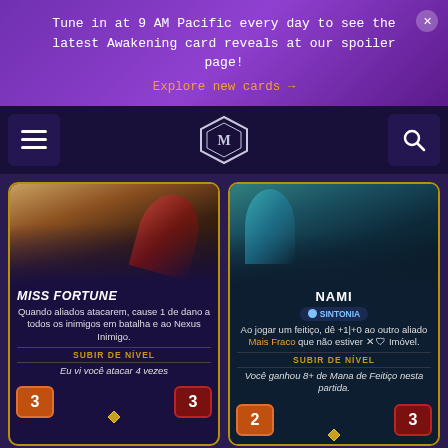Tune in at 9 AM Pacific every day to see the latest Awakening card reveals at our spoiler page!
Explore new cards →
[Figure (screenshot): Navigation bar with hamburger menu, diamond logo, and search icon]
[Figure (illustration): Miss Fortune card - shows character art, name MISS FORTUNE, description: Quando aliados atacarem, cause 1 de dano a todos os inimigos em batalha e ao Nexus Inimigo. SUBIR DE NÍVEL: Eu vi você atacar 4 vezes. Stats: 3 attack, 3 health]
[Figure (illustration): Nami card - shows character art, name NAMI, keyword SINTONIA, description: Ao jogar um feitiço, dê +1|+0 ao outro aliado Mais Fraco que não estiver Imóvel. SUBIR DE NÍVEL: Você ganhou 8+ de Mana de Feitiço nesta partida. Stats: 2 attack, 3 health]
[Figure (illustration): Partial card bottom left - cost 7, dark creature art]
[Figure (illustration): Partial card bottom right - ESPREITADOR label, cost 4, dark creature art]